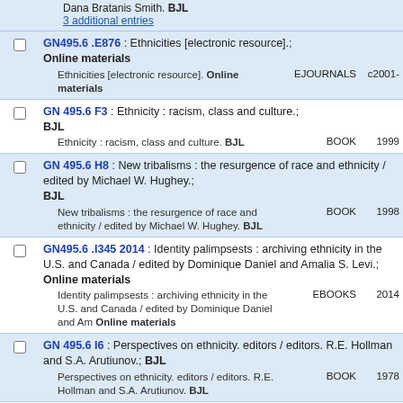Dana Bratanis Smith. BJL
3 additional entries
GN495.6 .E876 : Ethnicities [electronic resource].; Online materials
Ethnicities [electronic resource]. Online materials    EJOURNALS c2001-
GN 495.6 F3 : Ethnicity : racism, class and culture.; BJL
Ethnicity : racism, class and culture. BJL    BOOK    1999
GN 495.6 H8 : New tribalisms : the resurgence of race and ethnicity / edited by Michael W. Hughey.; BJL
New tribalisms : the resurgence of race and ethnicity / edited by Michael W. Hughey. BJL    BOOK    1998
GN495.6 .I345 2014 : Identity palimpsests : archiving ethnicity in the U.S. and Canada / edited by Dominique Daniel and Amalia S. Levi.; Online materials
Identity palimpsests : archiving ethnicity in the U.S. and Canada / edited by Dominique Daniel and Am Online materials    EBOOKS    2014
GN 495.6 I6 : Perspectives on ethnicity. editors / editors. R.E. Hollman and S.A. Arutiunov.; BJL
Perspectives on ethnicity. editors / editors. R.E. Hollman and S.A. Arutiunov. BJL    BOOK    1978
GN 495.6 J5 : Rethinking ethnicity : arguments and explorations.; BJL
Rethinking ethnicity : arguments and explorations. BJL    BOOK    1997
GN 495.6 K5 : What's in a name? : ethnicity and the...